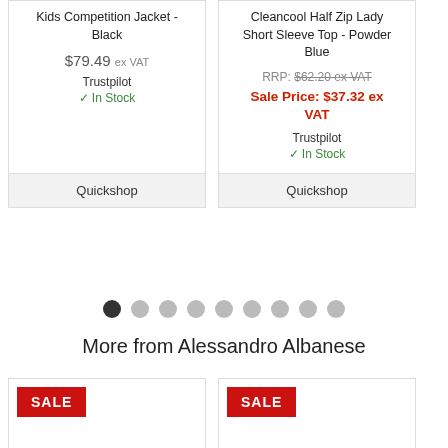Kids Competition Jacket - Black
$79.49 ex VAT
Trustpilot
✓ In Stock
Quickshop
Cleancool Half Zip Lady Short Sleeve Top - Powder Blue
RRP: $62.20 ex VAT
Sale Price: $37.32 ex VAT
Trustpilot
✓ In Stock
Quickshop
[Figure (other): Pagination dots: 9 dots, first one dark, rest light grey]
More from Alessandro Albanese
[Figure (other): SALE badge on product card (left)]
[Figure (other): SALE badge on product card (right)]